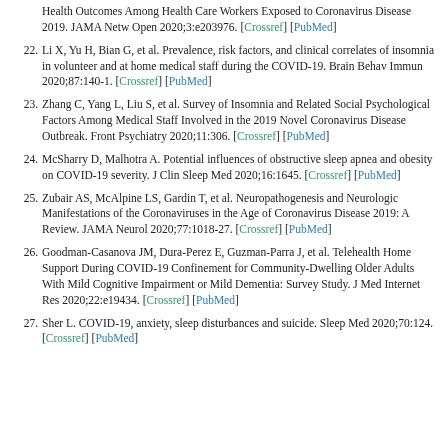Health Outcomes Among Health Care Workers Exposed to Coronavirus Disease 2019. JAMA Netw Open 2020;3:e203976. [Crossref] [PubMed]
22. Li X, Yu H, Bian G, et al. Prevalence, risk factors, and clinical correlates of insomnia in volunteer and at home medical staff during the COVID-19. Brain Behav Immun 2020;87:140-1. [Crossref] [PubMed]
23. Zhang C, Yang L, Liu S, et al. Survey of Insomnia and Related Social Psychological Factors Among Medical Staff Involved in the 2019 Novel Coronavirus Disease Outbreak. Front Psychiatry 2020;11:306. [Crossref] [PubMed]
24. McSharry D, Malhotra A. Potential influences of obstructive sleep apnea and obesity on COVID-19 severity. J Clin Sleep Med 2020;16:1645. [Crossref] [PubMed]
25. Zubair AS, McAlpine LS, Gardin T, et al. Neuropathogenesis and Neurologic Manifestations of the Coronaviruses in the Age of Coronavirus Disease 2019: A Review. JAMA Neurol 2020;77:1018-27. [Crossref] [PubMed]
26. Goodman-Casanova JM, Dura-Perez E, Guzman-Parra J, et al. Telehealth Home Support During COVID-19 Confinement for Community-Dwelling Older Adults With Mild Cognitive Impairment or Mild Dementia: Survey Study. J Med Internet Res 2020;22:e19434. [Crossref] [PubMed]
27. Sher L. COVID-19, anxiety, sleep disturbances and suicide. Sleep Med 2020;70:124. [Crossref] [PubMed]